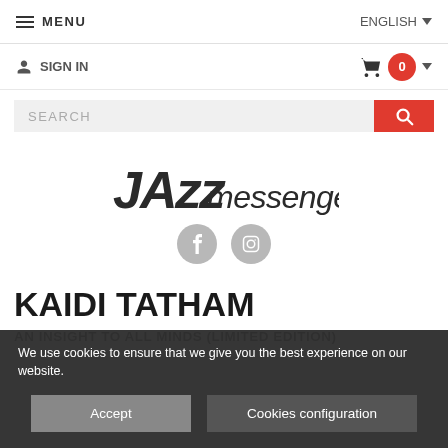≡ MENU   ENGLISH
SIGN IN  0
SEARCH
[Figure (logo): Jazz Messengers logo in stylized italic font]
[Figure (illustration): Facebook and Instagram social media icons as grey circles]
KAIDI TATHAM
AN INSIGHT TO ALL MINDS (LIMITED EDITION)
We use cookies to ensure that we give you the best experience on our website.
Accept   Cookies configuration